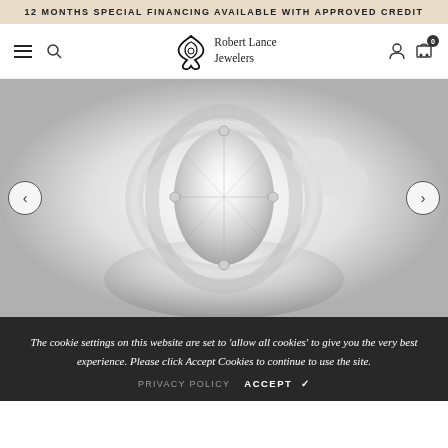12 MONTHS SPECIAL FINANCING AVAILABLE WITH APPROVED CREDIT
[Figure (logo): Robert Lance Jewelers logo with Celtic trinity knot symbol and text]
[Figure (photo): Close-up photo of a diamond halo engagement ring with marquise center stone and pave band on white background]
The cookie settings on this website are set to 'allow all cookies' to give you the very best experience. Please click Accept Cookies to continue to use the site.
PRIVACY POLICY   ACCEPT ✓